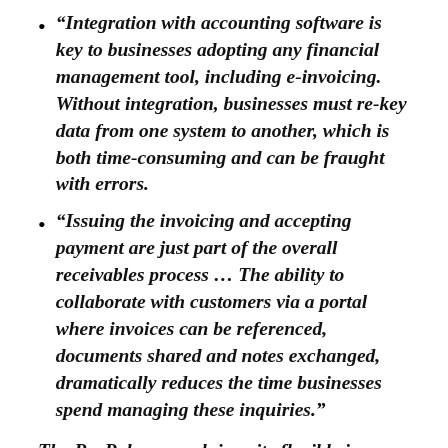“Integration with accounting software is key to businesses adopting any financial management tool, including e-invoicing. Without integration, businesses must re-key data from one system to another, which is both time-consuming and can be fraught with errors.
“Issuing the invoicing and accepting payment are just part of the overall receivables process … The ability to collaborate with customers via a portal where invoices can be referenced, documents shared and notes exchanged, dramatically reduces the time businesses spend managing these inquiries.”
The PayPal approach is quite flexible in terms of